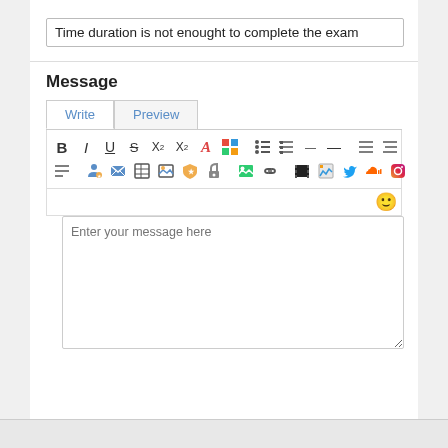Time duration is not enought to complete the exam
Message
[Figure (screenshot): Rich text editor toolbar with formatting buttons (Bold, Italic, Underline, Strikethrough, subscript, superscript, font color, color grid), text alignment, lists, media icons (Twitter, SoundCloud, Instagram), emoji smiley button, and a message input area with placeholder text 'Enter your message here']
Enter your message here